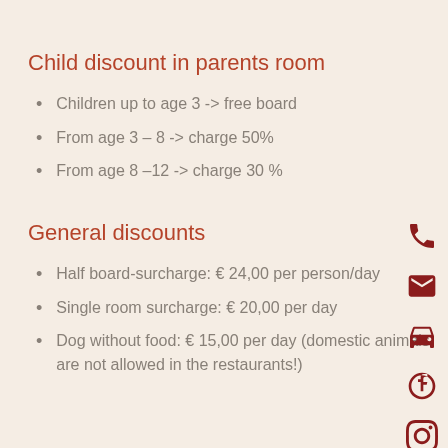Child discount in parents room
Children up to age 3 -> free board
From age 3 – 8 -> charge 50%
From age 8 –12 -> charge 30 %
General discounts
Half board-surcharge: € 24,00 per person/day
Single room surcharge: € 20,00 per day
Dog without food: € 15,00 per day (domestic animals are not allowed in the restaurants!)